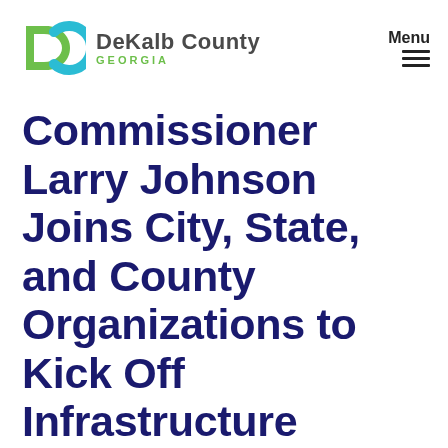DeKalb County GEORGIA
Commissioner Larry Johnson Joins City, State, and County Organizations to Kick Off Infrastructure Week, Highlight Bipartisan Law's